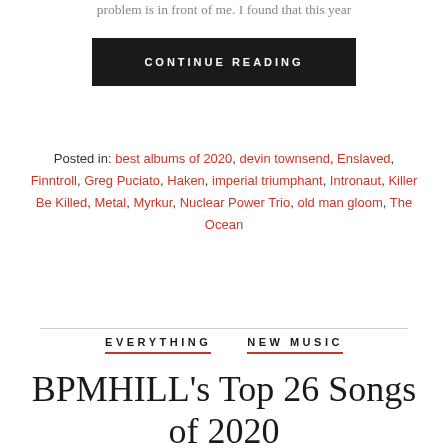problem is in front of me. I found that this year
CONTINUE READING
Posted in: best albums of 2020, devin townsend, Enslaved, Finntroll, Greg Puciato, Haken, imperial triumphant, Intronaut, Killer Be Killed, Metal, Myrkur, Nuclear Power Trio, old man gloom, The Ocean
EVERYTHING   NEW MUSIC
BPMHILL's Top 26 Songs of 2020
By BPM Hill on December 17, 2020